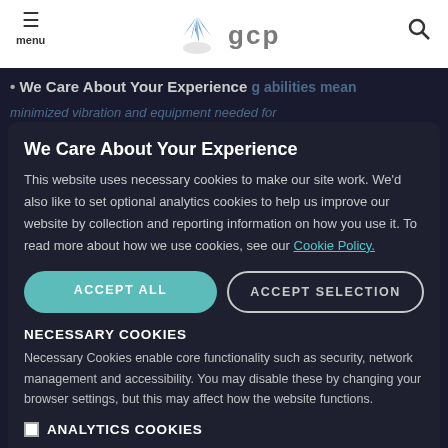GCP Applied Technologies — navigation bar with hamburger menu, logo, and search icon
We Care About Your Experience
This website uses necessary cookies to make our site work. We'd also like to set optional analytics cookies to help us improve our website by collection and reporting information on how you use it. To read more about how we use cookies, see our Cookie Policy.
ACCEPT ALL
ACCEPT SELECTION
NECESSARY COOKIES
Necessary Cookies enable core functionality such as security, network management and accessibility. You may disable these by changing your browser settings, but this may affect how the website functions.
ANALYTICS COOKIES
We won't set optional cookies unless you enable them. Using this tool will set a cookie on your device to remember your preferences.